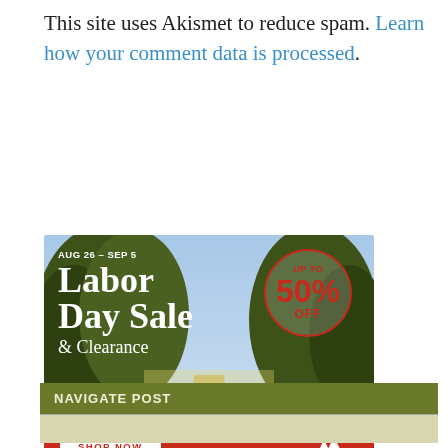This site uses Akismet to reduce spam. Learn how your comment data is processed.
[Figure (photo): REI Co-op Labor Day Sale advertisement banner. Shows hikers walking down a tree-lined path. Text reads: AUG 26 – SEP 5, Labor Day Sale & Clearance, UP TO 50% OFF, SHOP NOW button, REI Co-op logo, disclaimer: Discount based on original prices. While supplies last.]
NAVIGATE POST